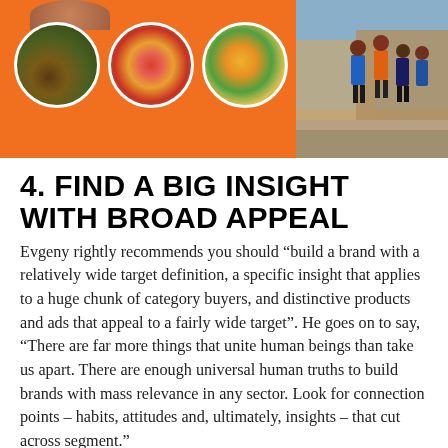[Figure (photo): Top image showing an orange background with three circular food photos and a photo of runners on the right side.]
4. FIND A BIG INSIGHT WITH BROAD APPEAL
Evgeny rightly recommends you should “build a brand with a relatively wide target definition, a specific insight that applies to a huge chunk of category buyers, and distinctive products and ads that appeal to a fairly wide target”. He goes on to say, “There are far more things that unite human beings than take us apart. There are enough universal human truths to build brands with mass relevance in any sector. Look for connection points – habits, attitudes and, ultimately, insights – that cut across segment.”